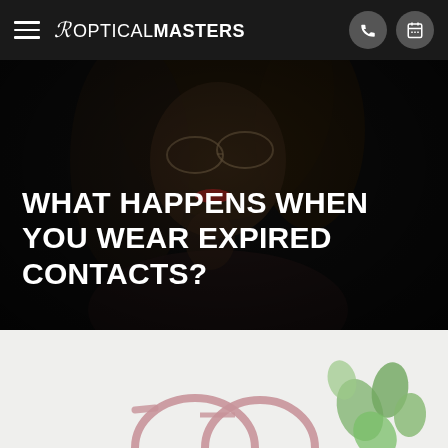OPTICAL MASTERS
[Figure (photo): Dark portrait photo of a blonde woman wearing glasses, looking contemplative, hand near chin, red lipstick, against a black background]
WHAT HAPPENS WHEN YOU WEAR EXPIRED CONTACTS?
[Figure (photo): Partial bottom image showing pink/rose-gold glasses frames and green plant leaves on a light background]